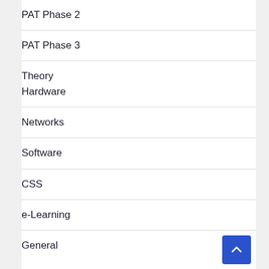PAT Phase 2
PAT Phase 3
Theory
Hardware
Networks
Software
CSS
e-Learning
General